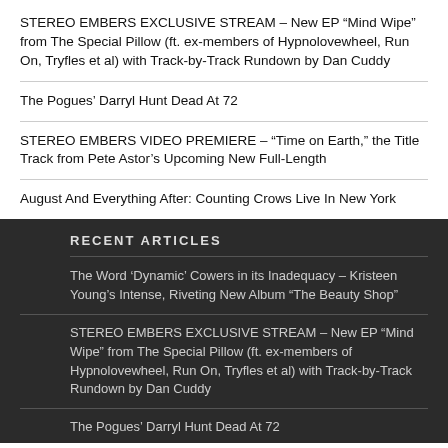STEREO EMBERS EXCLUSIVE STREAM – New EP “Mind Wipe” from The Special Pillow (ft. ex-members of Hypnolovewheel, Run On, Tryfles et al) with Track-by-Track Rundown by Dan Cuddy
The Pogues’ Darryl Hunt Dead At 72
STEREO EMBERS VIDEO PREMIERE – “Time on Earth,” the Title Track from Pete Astor’s Upcoming New Full-Length
August And Everything After: Counting Crows Live In New York
RECENT ARTICLES
The Word ‘Dynamic’ Cowers in its Inadequacy – Kristeen Young’s Intense, Riveting New Album “The Beauty Shop”
STEREO EMBERS EXCLUSIVE STREAM – New EP “Mind Wipe” from The Special Pillow (ft. ex-members of Hypnolovewheel, Run On, Tryfles et al) with Track-by-Track Rundown by Dan Cuddy
The Pogues’ Darryl Hunt Dead At 72